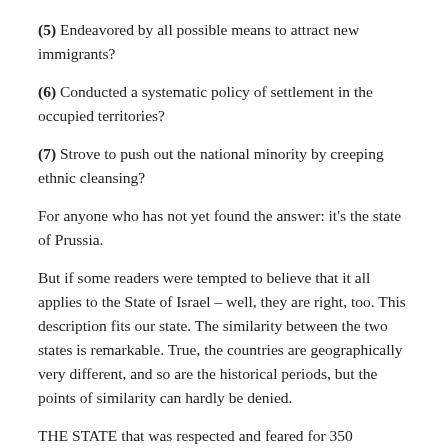(5) Endeavored by all possible means to attract new immigrants?
(6) Conducted a systematic policy of settlement in the occupied territories?
(7) Strove to push out the national minority by creeping ethnic cleansing?
For anyone who has not yet found the answer: it's the state of Prussia.
But if some readers were tempted to believe that it all applies to the State of Israel – well, they are right, too. This description fits our state. The similarity between the two states is remarkable. True, the countries are geographically very different, and so are the historical periods, but the points of similarity can hardly be denied.
THE STATE that was respected and feared for 350